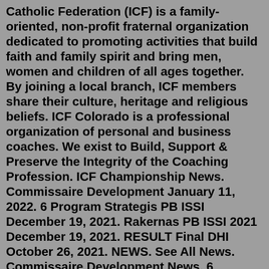Catholic Federation (ICF) is a family-oriented, non-profit fraternal organization dedicated to promoting activities that build faith and family spirit and bring men, women and children of all ages together. By joining a local branch, ICF members share their culture, heritage and religious beliefs. ICF Colorado is a professional organization of personal and business coaches. We exist to Build, Support & Preserve the Integrity of the Coaching Profession. ICF Championship News. Commissaire Development January 11, 2022. 6 Program Strategis PB ISSI December 19, 2021. Rakernas PB ISSI 2021 December 19, 2021. RESULT Final DHI October 26, 2021. NEWS. See All News. Commissaire Development News. 6 Program Strategis PB ISSI News. Rakernas PB ISSI 2021 Events News ...ICF Structure. The International Canoe Federation (ICF) is a membership organisation that is responsible for the global sport of canoeing and comprises of five Continental Associations (CA) and 169 National Federations (NF). The ICF is the recognised